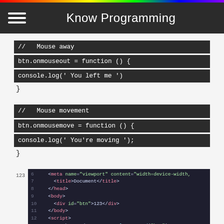Know Programming
// Mouse away
btn.onmouseout = function () {
console.log(' You left me ')
}
// Mouse movement
btn.onmousemove = function () {
console.log(' You're moving ');
}
[Figure (screenshot): VS Code editor screenshot showing HTML boilerplate with a div#btn and JavaScript event handlers including onclick and mouseover events. Line numbers 6-16 visible, with sidebar icons.]